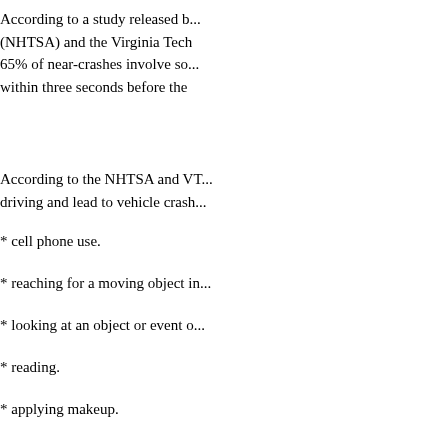According to a study released b... (NHTSA) and the Virginia Tech ... 65% of near-crashes involve so... within three seconds before the...
According to the NHTSA and VT... driving and lead to vehicle crash...
* cell phone use.
* reaching for a moving object in...
* looking at an object or event o...
* reading.
* applying makeup.
Drivers who engage more freque... involved in a vehicle crash or ne...
"Dial D" for Disaster
Cell phone use has become so p... when, where, and how often we...